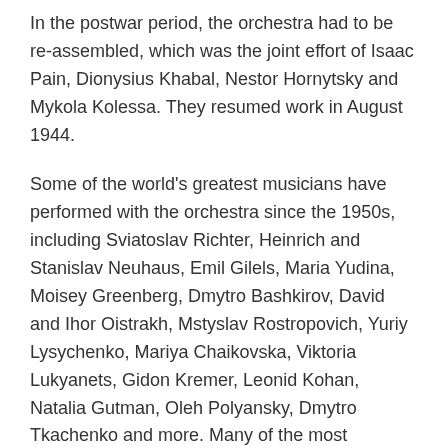In the postwar period, the orchestra had to be re-assembled, which was the joint effort of Isaac Pain, Dionysius Khabal, Nestor Hornytsky and Mykola Kolessa. They resumed work in August 1944.
Some of the world's greatest musicians have performed with the orchestra since the 1950s, including Sviatoslav Richter, Heinrich and Stanislav Neuhaus, Emil Gilels, Maria Yudina, Moisey Greenberg, Dmytro Bashkirov, David and Ihor Oistrakh, Mstyslav Rostropovich, Yuriy Lysychenko, Mariya Chaikovska, Viktoria Lukyanets, Gidon Kremer, Leonid Kohan, Natalia Gutman, Oleh Polyansky, Dmytro Tkachenko and more. Many of the most prominent conductors in classical music have appeared with the orchestra, including Kirill Kondrashin, Fuat Mansurov, Nathan Rakhlin, Gennady Rozhdestvensky, Reinhold Gliere, Yevgeni Mravinsky, Nikolae Popescu, Kurt Masur, Saulius Sondeckis, Theodore Kuchar and Mariss Jansons as well as Ukrainian conductors Stefan Turchak, Fedor Glushchenko, Igor Blazhkov, Roman Kofman, Volodymyr Kozhukhar, Volodymyr Sirenko, Viktor Ploskina, Yuriy Yanko